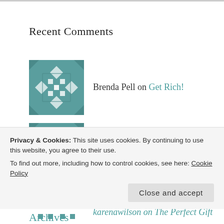Recent Comments
Brenda Pell on Get Rich!
Brenda Pell on Doors
karenawilson on The Perfect Gift
Penny Waidell on The Perfect Gift
Privacy & Cookies: This site uses cookies. By continuing to use this website, you agree to their use.
To find out more, including how to control cookies, see here: Cookie Policy
Archives